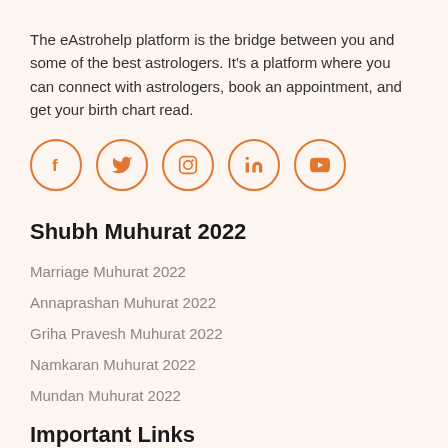The eAstrohelp platform is the bridge between you and some of the best astrologers. It's a platform where you can connect with astrologers, book an appointment, and get your birth chart read.
[Figure (illustration): Five social media icons in orange circle outlines: Facebook (f), Twitter (bird), Instagram (camera), LinkedIn (in), YouTube (play button)]
Shubh Muhurat 2022
Marriage Muhurat 2022
Annaprashan Muhurat 2022
Griha Pravesh Muhurat 2022
Namkaran Muhurat 2022
Mundan Muhurat 2022
Important Links